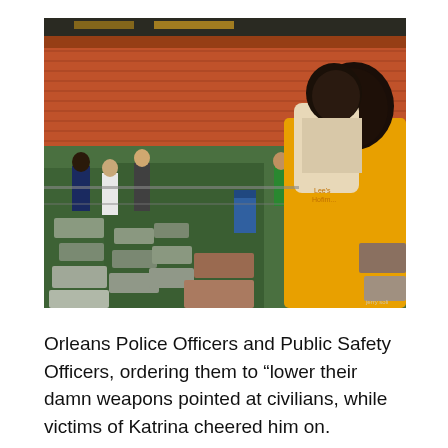[Figure (photo): A stadium being used as a refuge shelter during Hurricane Katrina. Cots and makeshift bedding are spread across the arena floor. A person in a yellow shirt holds a small child on their shoulder in the foreground. In the background, orange stadium seats are visible and people stand and mill about the floor.]
Orleans Police Officers and Public Safety Officers, ordering them to “lower their damn weapons pointed at civilians, while victims of Katrina cheered him on.